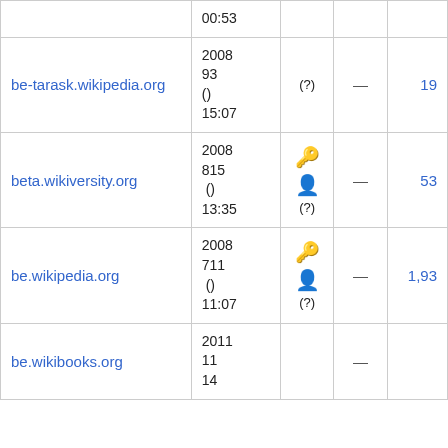| Site | Date | Icon | — | Count |
| --- | --- | --- | --- | --- |
|  | 00:53 |  |  |  |
| be-tarask.wikipedia.org | 2008 ␣9␣3␣ (␣) 15:07 | (?) | — | 19 |
| beta.wikiversity.org | 2008 ␣8␣15␣ (␣) 13:35 | 🔑👤 (?) | — | 53 |
| be.wikipedia.org | 2008 ␣7␣11␣ (␣) 11:07 | 🔑👤 (?) | — | 1,93 |
| be.wikibooks.org | 2011 ␣11␣ 14␣ |  | — |  |